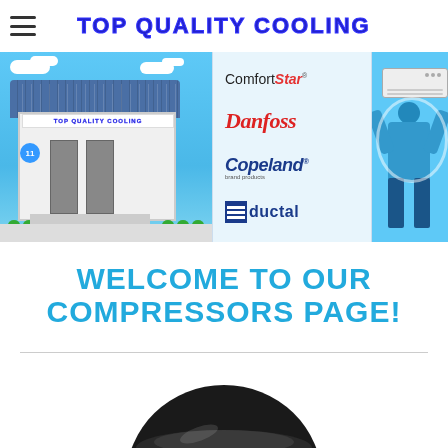TOP QUALITY COOLING
[Figure (illustration): Banner composite: left panel shows illustrated storefront with 'TOP QUALITY COOLING' sign, middle panel shows brand logos (ComfortStar, Danfoss, Copeland, PBductal), right panel shows technician holding AC unit]
WELCOME TO OUR COMPRESSORS PAGE!
[Figure (photo): Bottom partial view of a black compressor unit]